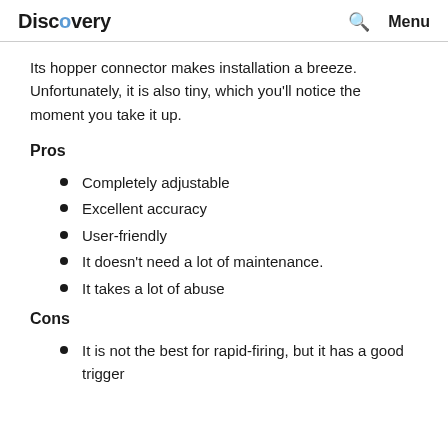Discovery | Search | Menu
Its hopper connector makes installation a breeze. Unfortunately, it is also tiny, which you'll notice the moment you take it up.
Pros
Completely adjustable
Excellent accuracy
User-friendly
It doesn't need a lot of maintenance.
It takes a lot of abuse
Cons
It is not the best for rapid-firing, but it has a good trigger